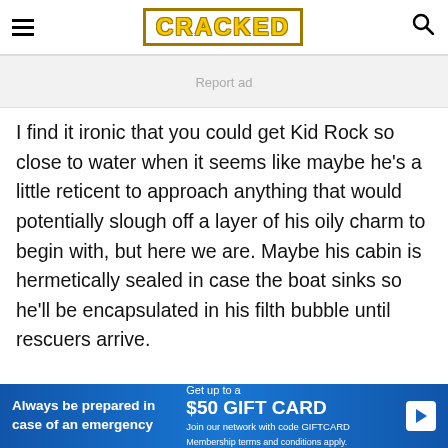CRACKED
Report ad
I find it ironic that you could get Kid Rock so close to water when it seems like maybe he's a little reticent to approach anything that would potentially slough off a layer of his oily charm to begin with, but here we are. Maybe his cabin is hermetically sealed in case the boat sinks so he'll be encapsulated in his filth bubble until rescuers arrive.

Kid Rock's Chillin' the Most cruise features not just a
[Figure (infographic): Bottom advertisement banner: blue background with text 'Always be prepared in case of an emergency' on left, 'Get up to a $50 GIFT CARD Join our network with code GIFTCARD Membership terms and conditions apply.' on right, with a white play button icon.]